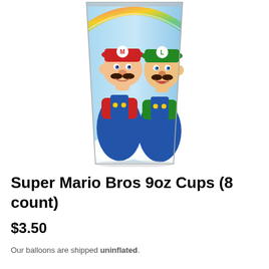[Figure (photo): A Super Mario Bros themed 9oz plastic cup featuring Mario (in red hat and blue overalls) and Luigi (in green hat and blue overalls) printed on the cup. The cup is tapered wider at the top. Background on cup shows colorful sky and rainbow elements.]
Super Mario Bros 9oz Cups (8 count)
$3.50
Our balloons are shipped uninflated.